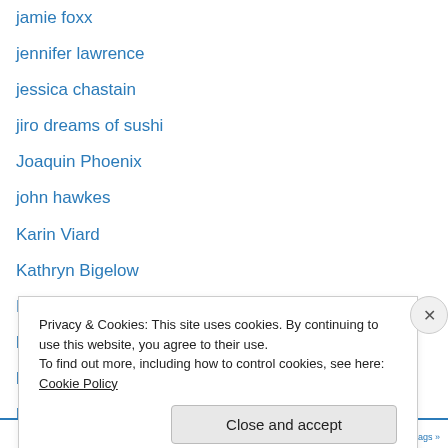jamie foxx
jennifer lawrence
jessica chastain
jiro dreams of sushi
Joaquin Phoenix
john hawkes
Karin Viard
Kathryn Bigelow
Keira Knightley
kevin james
knuckleball
kristen stewart
kylie minogue
La Belle Noiseuse
Privacy & Cookies: This site uses cookies. By continuing to use this website, you agree to their use.
To find out more, including how to control cookies, see here: Cookie Policy
Close and accept